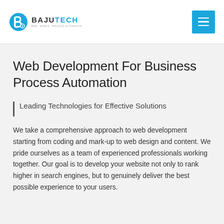[Figure (logo): BajuTech logo with icon on left and brand name BAJU in dark and TECH in blue, with small tagline below]
[Figure (other): Blue hamburger menu button with three horizontal white bars]
Web Development For Business Process Automation
Leading Technologies for Effective Solutions
We take a comprehensive approach to web development starting from coding and mark-up to web design and content. We pride ourselves as a team of experienced professionals working together. Our goal is to develop your website not only to rank higher in search engines, but to genuinely deliver the best possible experience to your users.